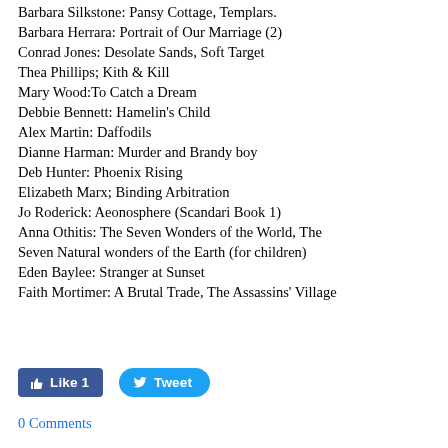Barbara Silkstone: Pansy Cottage, Templars.
Barbara Herrara: Portrait of Our Marriage (2)
Conrad Jones: Desolate Sands, Soft Target
Thea Phillips; Kith & Kill
Mary Wood:To Catch a Dream
Debbie Bennett: Hamelin's Child
Alex Martin: Daffodils
Dianne Harman: Murder and Brandy boy
Deb Hunter: Phoenix Rising
Elizabeth Marx; Binding Arbitration
Jo Roderick: Aeonosphere (Scandari Book 1)
Anna Othitis: The Seven Wonders of the World, The Seven Natural wonders of the Earth (for children)
Eden Baylee: Stranger at Sunset
Faith Mortimer: A Brutal Trade, The Assassins' Village
Like 1
Tweet
0 Comments